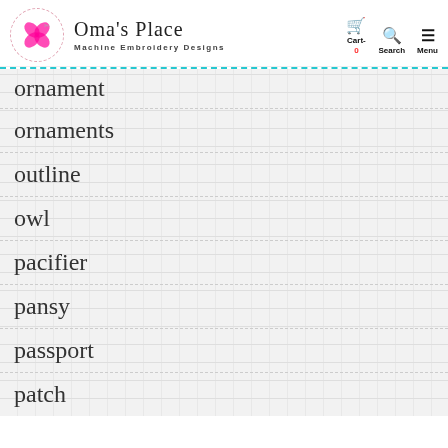Oma's Place — Machine Embroidery Designs — Cart-0 Search Menu
ornament
ornaments
outline
owl
pacifier
pansy
passport
patch